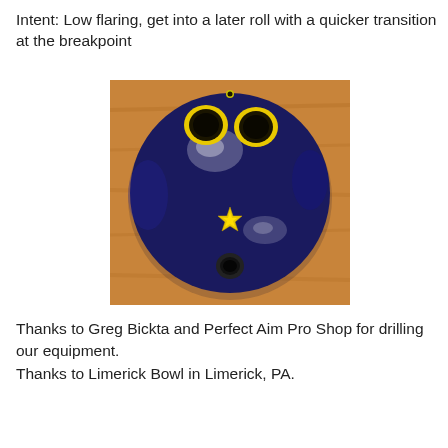Intent: Low flaring, get into a later roll with a quicker transition at the breakpoint
[Figure (photo): A dark navy blue bowling ball viewed from above, sitting on a wooden surface. The ball has two yellow finger holes at the top and one thumb hole at the bottom. A yellow four-pointed star logo is visible near the center of the ball.]
Thanks to Greg Bickta and Perfect Aim Pro Shop for drilling our equipment.
Thanks to Limerick Bowl in Limerick, PA.